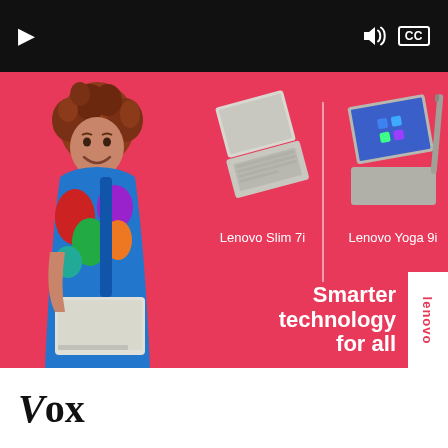[Figure (screenshot): Video player bar with black background, white play button on left, speaker/volume icon and CC (closed captions) button on right]
[Figure (photo): Lenovo advertisement with pink/red background. A woman with curly red hair wearing a colorful outfit holds a white laptop. Center shows Lenovo Slim 7i laptop product image. Right shows Lenovo Yoga 9i laptop product image with stylus. Bottom right shows 'Smarter technology for all' text and Lenovo logo on white panel.]
Lenovo Slim 7i
Lenovo Yoga 9i
Smarter technology for all
[Figure (logo): Vox media logo in bold serif italic font, black text on white background]
Vox